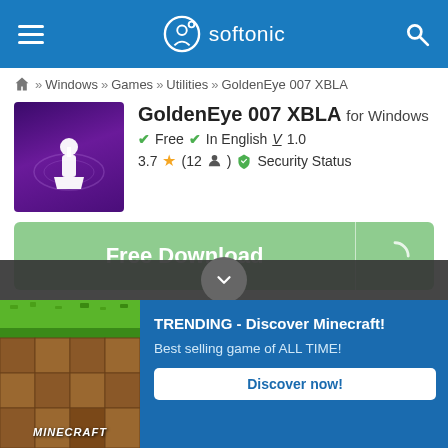softonic
⌂ » Windows » Games » Utilities » GoldenEye 007 XBLA
[Figure (logo): GoldenEye 007 XBLA app icon — white joystick silhouette on purple gradient background]
GoldenEye 007 XBLA for Windows
✔ Free ✔ In English V 1.0
3.7 ★ (12 👤) 🛡 Security Status
[Figure (other): Free Download green button with loading icon]
Softonic review
Kyle Juffs
Updated a month ago
[Figure (other): Trending ad banner: TRENDING - Discover Minecraft! Best selling game of ALL TIME! with Discover now! button]